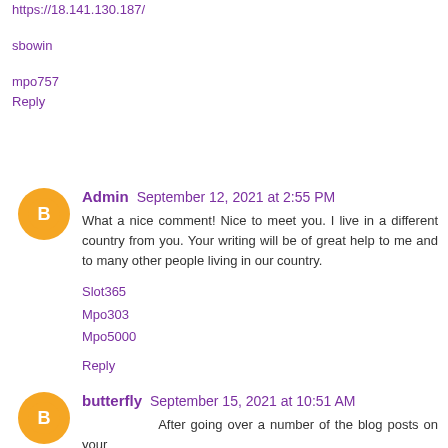https://18.141.130.187/
sbowin
mpo757
Reply
Admin  September 12, 2021 at 2:55 PM
What a nice comment! Nice to meet you. I live in a different country from you. Your writing will be of great help to me and to many other people living in our country.
Slot365
Mpo303
Mpo5000
Reply
butterfly  September 15, 2021 at 10:51 AM
After going over a number of the blog posts on your